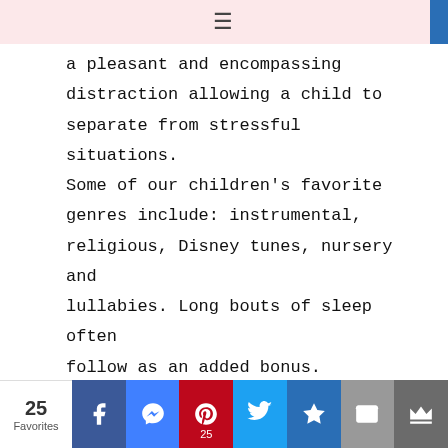≡
a pleasant and encompassing distraction allowing a child to separate from stressful situations. Some of our children's favorite genres include: instrumental, religious, Disney tunes, nursery and lullabies. Long bouts of sleep often follow as an added bonus.
10. ESSENTIAL OILS
Essential oils have incredible healing properties and should be
25 Favorites  [Facebook] [Messenger] [Pinterest 25] [Twitter] [Bookmark] [Mail] [Crown]